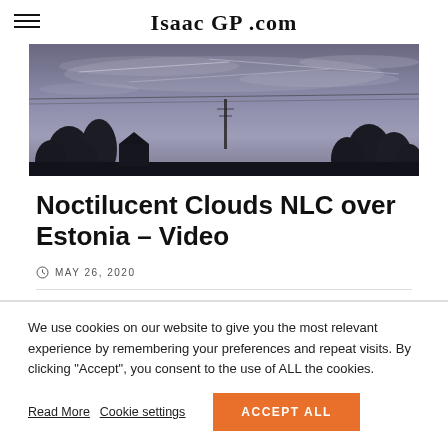Isaac GP .com
[Figure (photo): Twilight sky with silhouetted trees and noctilucent clouds over Estonia]
Noctilucent Clouds NLC over Estonia – Video
MAY 26, 2020
We use cookies on our website to give you the most relevant experience by remembering your preferences and repeat visits. By clicking "Accept", you consent to the use of ALL the cookies.
Read More   Cookie settings   ACCEPT ALL